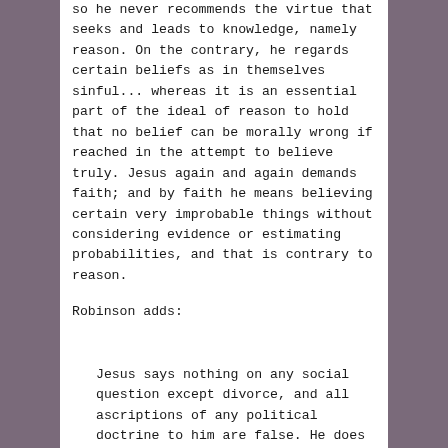so he never recommends the virtue that seeks and leads to knowledge, namely reason. On the contrary, he regards certain beliefs as in themselves sinful... whereas it is an essential part of the ideal of reason to hold that no belief can be morally wrong if reached in the attempt to believe truly. Jesus again and again demands faith; and by faith he means believing certain very improbable things without considering evidence or estimating probabilities, and that is contrary to reason.
Robinson adds:
Jesus says nothing on any social question except divorce, and all ascriptions of any political doctrine to him are false. He does not pronounce about war, capital punishment, gambling, justice, the administration of law, the distribution of goods, socialism, equality of income, equality of sex,